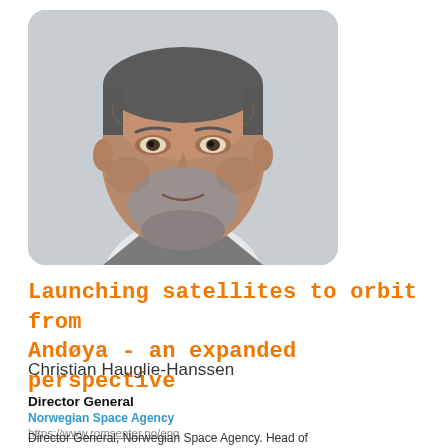[Figure (photo): Close-up portrait photograph of a middle-aged man with grey stubble beard, wearing a light shirt and grey suit jacket, against a light grey background.]
Launching satellites to orbit from Andøya - an expanded perspective
Christian Hauglie-Hanssen
Director General
Norwegian Space Agency
https://www.romsenter.no/eng
Director General, Norwegian Space Agency. Head of